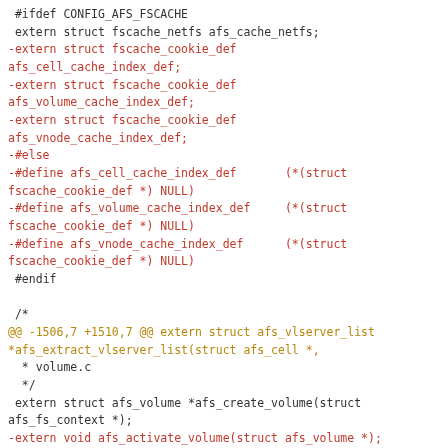[Figure (screenshot): A code diff screenshot showing changes to a C header file related to AFS (Andrew File System) fscache definitions and volume functions. Red lines are removals, green lines are additions, dark yellow lines are hunk headers, and default-colored lines are context.]